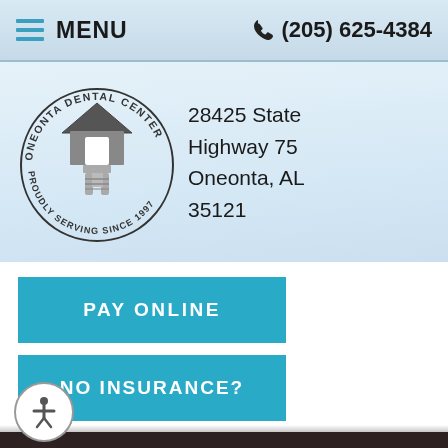MENU  (205) 625-4384
[Figure (logo): Oneonta Dental Center circular logo with house/tooth icon and text 'PROUDLY SERVING SINCE 1997']
28425 State Highway 75 Oneonta, AL 35121
PAY ONLINE
NO INSURANCE?
[Figure (illustration): Cross-section dental illustration showing tooth decay with 'Decay' arrow label and 'Pulp' label, darkened overlay]